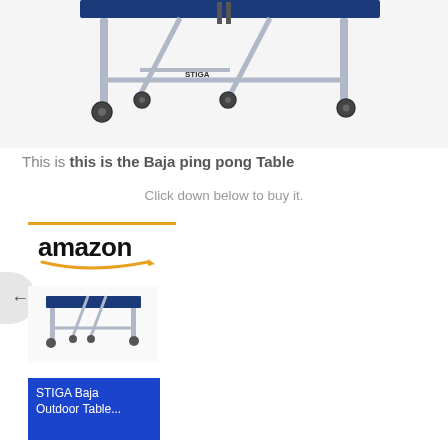[Figure (photo): Close-up photo of a STIGA Baja outdoor ping pong table showing the blue table surface, silver metal frame, folded half, and wheels/casters at the bottom.]
This is this is the Baja ping pong Table
Click down below to buy it.
[Figure (logo): Amazon logo with orange swoosh underline, above an orange horizontal rule.]
[Figure (photo): Thumbnail photo of the STIGA Baja outdoor ping pong table showing full table in blue and silver, open position with wheels.]
STIGA Baja Outdoor Table...